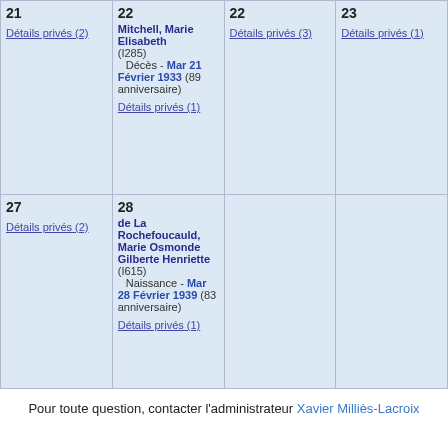| Col1 | Col2 | Col3 | Col4 |
| --- | --- | --- | --- |
| 21
Détails privés (2) | 22
Mitchell, Marie Elisabeth (I285)
Décès - Mar 21 Février 1933 (89 anniversaire)
Détails privés (1) | 22
Détails privés (3) | 23
Détails privés (1) |
| 27
Détails privés (2) | 28
de La Rochefoucauld, Marie Osmonde Gilberte Henriette (I615)
Naissance - Mar 28 Février 1939 (83 anniversaire)
Détails privés (1) |  |  |
Pour toute question, contacter l'administrateur Xavier Milliès-Lacroix
Page imprimable